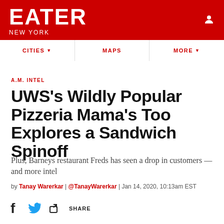EATER NEW YORK
A.M. INTEL
UWS’s Wildly Popular Pizzeria Mama’s Too Explores a Sandwich Spinoff
Plus, Barneys restaurant Freds has seen a drop in customers — and more intel
by Tanay Warerkar | @TanayWarerkar | Jan 14, 2020, 10:13am EST